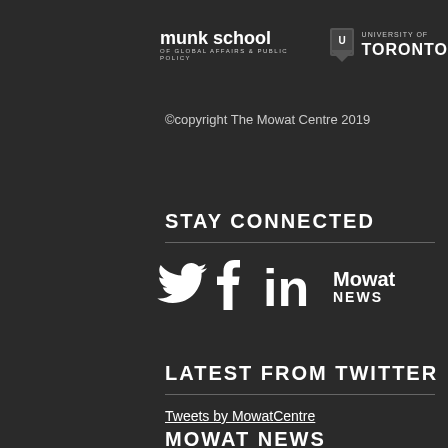[Figure (logo): Munk School of Global Affairs & Public Policy logo and University of Toronto crest logo side by side]
©copyright The Mowat Centre 2019
STAY CONNECTED
[Figure (logo): Social media icons: Twitter bird, Facebook f, LinkedIn in, and Mowat News wordmark]
LATEST FROM TWITTER
Tweets by MowatCentre
MOWAT NEWS SUBCRIBE